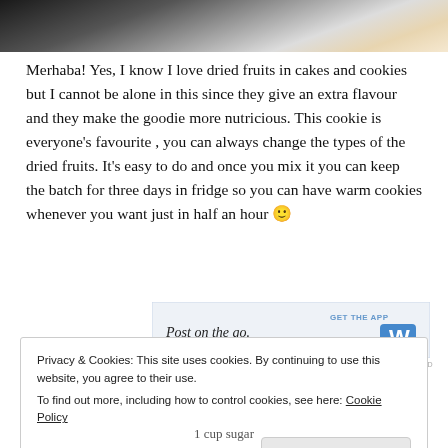[Figure (photo): Partial photo strip at top of page showing food/cookie item with dark and light tones]
Merhaba! Yes, I know I love dried fruits in cakes and cookies but I cannot be alone in this since they give an extra flavour and they make the goodie more nutricious. This cookie is everyone's favourite , you can always change the types of the dried fruits. It's easy to do and once you mix it you can keep the batch for three days in fridge so you can have warm cookies whenever you want just in half an hour 🙂
[Figure (screenshot): Advertisement banner reading 'Post on the go.' with 'GET THE APP' and WordPress W logo on blue background]
REPORT THIS AD
Privacy & Cookies: This site uses cookies. By continuing to use this website, you agree to their use.
To find out more, including how to control cookies, see here: Cookie Policy
Close and accept
1 cup sugar